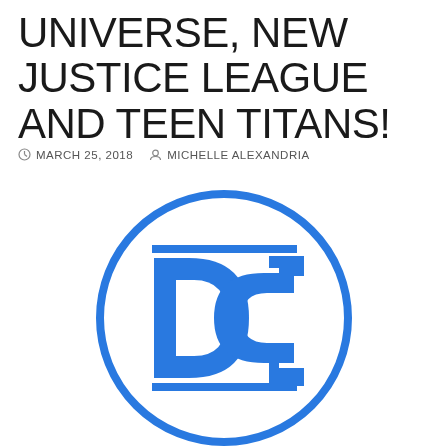UNIVERSE, NEW JUSTICE LEAGUE AND TEEN TITANS!
MARCH 25, 2018   MICHELLE ALEXANDRIA
[Figure (logo): DC Comics logo — blue circle with the letters DC in bold blue inside]